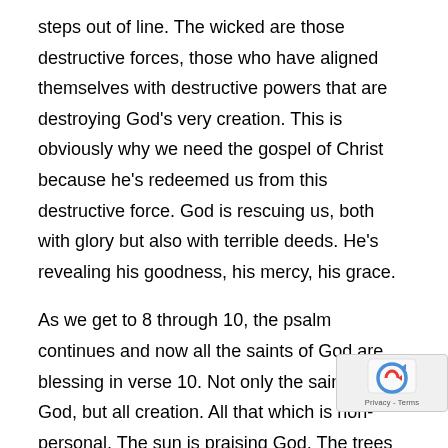steps out of line. The wicked are those destructive forces, those who have aligned themselves with destructive powers that are destroying God's very creation. This is obviously why we need the gospel of Christ because he's redeemed us from this destructive force. God is rescuing us, both with glory but also with terrible deeds. He's revealing his goodness, his mercy, his grace.
As we get to 8 through 10, the psalm continues and now all the saints of God are blessing in verse 10. Not only the saints of God, but all creation. All that which is non-personal. The sun is praising God. The trees are praising God. The grass is praising God. This is in Celtic psalms they often call upon non-human things to praise the Lord because of verse this. "All your works shall give thanks to you and all yo...